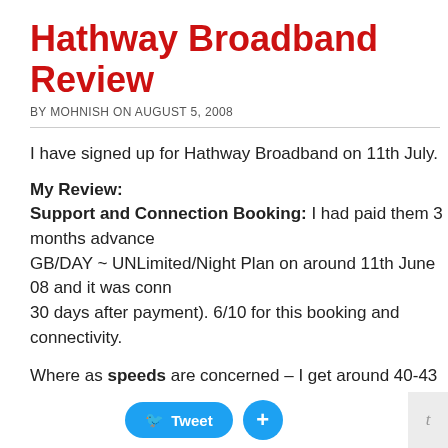Hathway Broadband Review
BY MOHNISH ON AUGUST 5, 2008
I have signed up for Hathway Broadband on 11th July.
My Review:
Support and Connection Booking: I had paid them 3 months advance GB/DAY ~ UNLimited/Night Plan on around 11th June 08 and it was conn 30 days after payment). 6/10 for this booking and connectivity.
Where as speeds are concerned – I get around 40-43 KBPS Download S Speeds.I would give them a 7/10 because I should be getting minimum 6
Their Tech Support is really fast, I called them 2 days back because the Fiber and it was showing me a Cable Unplugged Error. Their Tech Suppo FLAT 15 mins!! So for Tech Support its a 10/10! 😉
Connectivity – Good enough.. Almost connected for 23.5 hours/day! I gi
Worth the Money?
I would say – Yes!!
As its the 2nd Cheapest B would rate $$$
[Figure (other): Tweet and share buttons overlay bar at bottom of page, with a Tweet button and a plus button in blue, and a 't' tab on the right side.]